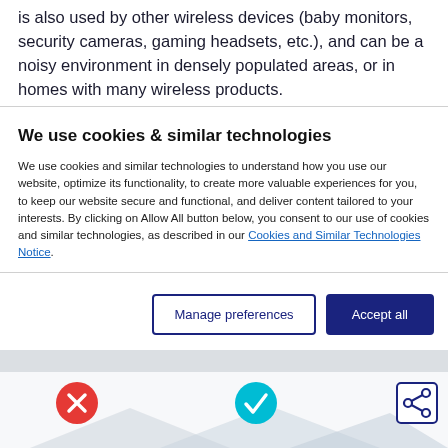is also used by other wireless devices (baby monitors, security cameras, gaming headsets, etc.), and can be a noisy environment in densely populated areas, or in homes with many wireless products.
We use cookies & similar technologies
We use cookies and similar technologies to understand how you use our website, optimize its functionality, to create more valuable experiences for you, to keep our website secure and functional, and deliver content tailored to your interests. By clicking on Allow All button below, you consent to our use of cookies and similar technologies, as described in our Cookies and Similar Technologies Notice.
[Figure (screenshot): Cookie consent dialog with Manage preferences and Accept all buttons]
[Figure (infographic): Bottom icon row showing a red circle with X, a teal circle with checkmark, and a share icon button, with mountain silhouette background shapes]